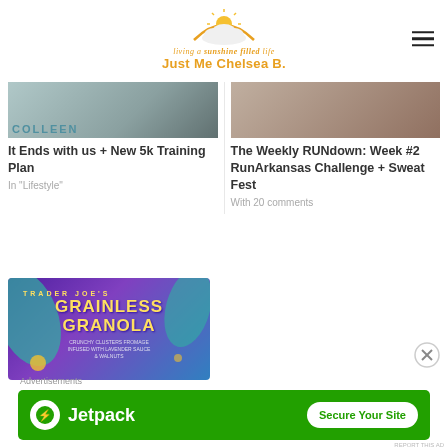[Figure (logo): Just Me Chelsea B. blog logo with sunshine illustration and tagline 'living a sunshine filled life']
[Figure (photo): Book cover thumbnail with text COLLEEN visible]
It Ends with us + New 5k Training Plan
In "Lifestyle"
[Figure (photo): Photo with person visible]
The Weekly RUNdown: Week #2 RunArkansas Challenge + Sweat Fest
With 20 comments
[Figure (photo): Trader Joe's Grainless Granola product package with purple and teal design]
Advertisements
[Figure (other): Jetpack advertisement banner with green background showing 'Jetpack' logo and 'Secure Your Site' button]